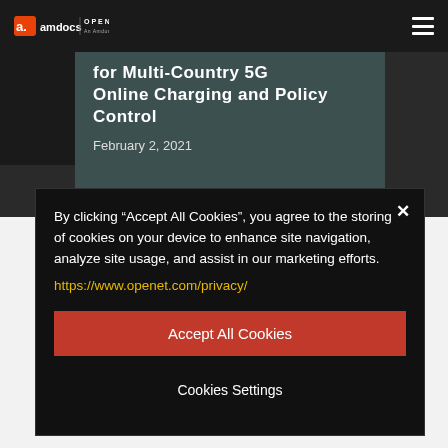amdocs | OPENET
for Multi-Country 5G Online Charging and Policy Control
February 2, 2021
By clicking “Accept All Cookies”, you agree to the storing of cookies on your device to enhance site navigation, analyze site usage, and assist in our marketing efforts.
https://www.openet.com/privacy/
Accept All Cookies
Cookies Settings